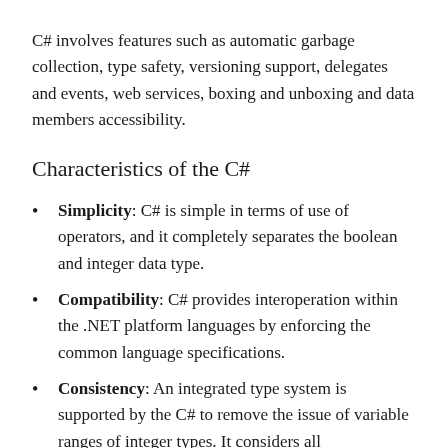C# involves features such as automatic garbage collection, type safety, versioning support, delegates and events, web services, boxing and unboxing and data members accessibility.
Characteristics of the C#
Simplicity: C# is simple in terms of use of operators, and it completely separates the boolean and integer data type.
Compatibility: C# provides interoperation within the .NET platform languages by enforcing the common language specifications.
Consistency: An integrated type system is supported by the C# to remove the issue of variable ranges of integer types. It considers all